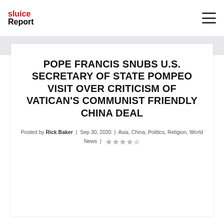sluice Report
POPE FRANCIS SNUBS U.S. SECRETARY OF STATE POMPEO VISIT OVER CRITICISM OF VATICAN'S COMMUNIST FRIENDLY CHINA DEAL
Posted by Rick Baker | Sep 30, 2020 | Asia, China, Politics, Religion, World News | ★★★★☆